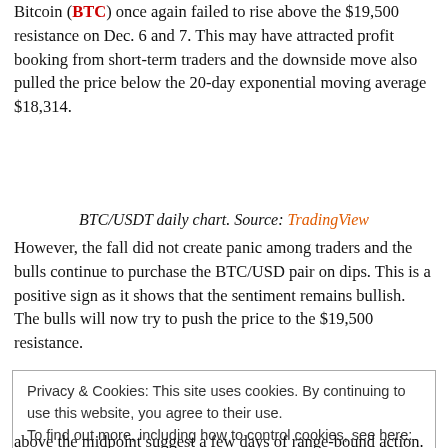Bitcoin (BTC) once again failed to rise above the $19,500 resistance on Dec. 6 and 7. This may have attracted profit booking from short-term traders and the downside move also pulled the price below the 20-day exponential moving average $18,314.
BTC/USDT daily chart. Source: TradingView
However, the fall did not create panic among traders and the bulls continue to purchase the BTC/USD pair on dips. This is a positive sign as it shows that the sentiment remains bullish. The bulls will now try to push the price to the $19,500 resistance.
Privacy & Cookies: This site uses cookies. By continuing to use this website, you agree to their use.
To find out more, including how to control cookies, see here: Cookie Policy
above the midpoint suggest a few days of range-bound action.